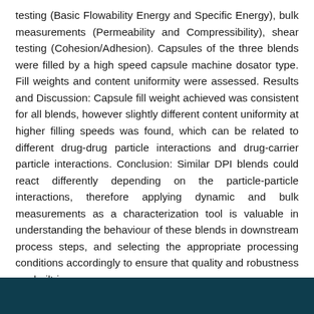testing (Basic Flowability Energy and Specific Energy), bulk measurements (Permeability and Compressibility), shear testing (Cohesion/Adhesion). Capsules of the three blends were filled by a high speed capsule machine dosator type. Fill weights and content uniformity were assessed. Results and Discussion: Capsule fill weight achieved was consistent for all blends, however slightly different content uniformity at higher filling speeds was found, which can be related to different drug-drug particle interactions and drug-carrier particle interactions. Conclusion: Similar DPI blends could react differently depending on the particle-particle interactions, therefore applying dynamic and bulk measurements as a characterization tool is valuable in understanding the behaviour of these blends in downstream process steps, and selecting the appropriate processing conditions accordingly to ensure that quality and robustness are built-in